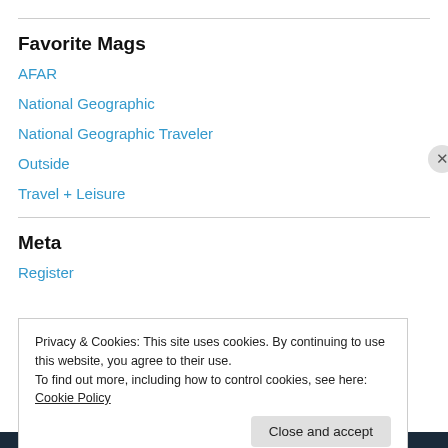Favorite Mags
AFAR
National Geographic
National Geographic Traveler
Outside
Travel + Leisure
Meta
Register
Privacy & Cookies: This site uses cookies. By continuing to use this website, you agree to their use.
To find out more, including how to control cookies, see here: Cookie Policy
Close and accept